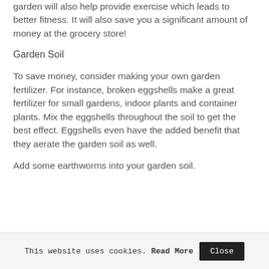garden will also help provide exercise which leads to better fitness. It will also save you a significant amount of money at the grocery store!
Garden Soil
To save money, consider making your own garden fertilizer. For instance, broken eggshells make a great fertilizer for small gardens, indoor plants and container plants. Mix the eggshells throughout the soil to get the best effect. Eggshells even have the added benefit that they aerate the garden soil as well.
Add some earthworms into your garden soil.
This website uses cookies. Read More  Close